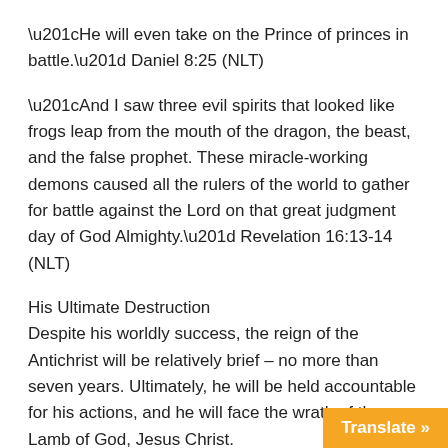“He will even take on the Prince of princes in battle.” Daniel 8:25 (NLT)
“And I saw three evil spirits that looked like frogs leap from the mouth of the dragon, the beast, and the false prophet. These miracle-working demons caused all the rulers of the world to gather for battle against the Lord on that great judgment day of God Almighty.” Revelation 16:13-14 (NLT)
His Ultimate Destruction
Despite his worldly success, the reign of the Antichrist will be relatively brief – no more than seven years. Ultimately, he will be held accountable for his actions, and he will face the wrath of the Lamb of God, Jesus Christ.
Camps at Armageddon
While gathering the armies of the world to Jerusalem to wage battle against the Lord, the Antichrist will set up his camp and gather his armies in a place called Armageddon, the modern day city of Megiddo, Israel.